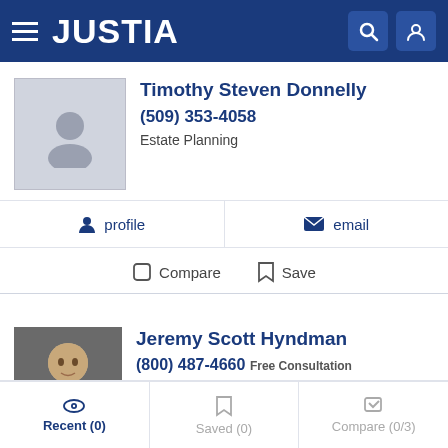JUSTIA
Timothy Steven Donnelly
(509) 353-4058
Estate Planning
profile
email
Compare
Save
Jeremy Scott Hyndman
(800) 487-4660 Free Consultation
Estate Planning, Real Estate, Securities and Stockbroker Fr...
website
profile
email
Recent (0)
Saved (0)
Compare (0/3)